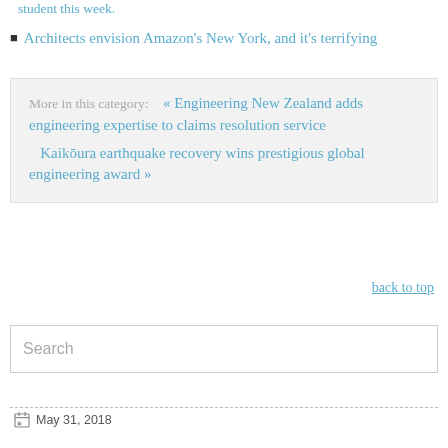student this week.
Architects envision Amazon's New York, and it's terrifying
More in this category:   « Engineering New Zealand adds engineering expertise to claims resolution service   Kaikōura earthquake recovery wins prestigious global engineering award »
back to top
Search
May 31, 2018